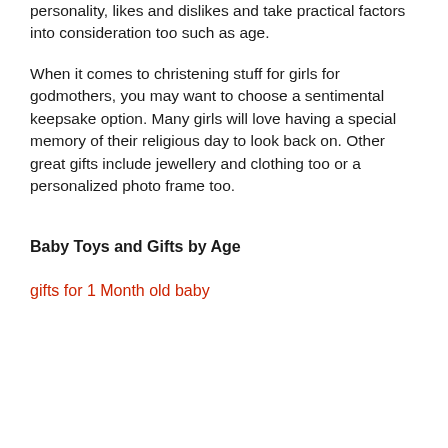personality, likes and dislikes and take practical factors into consideration too such as age.
When it comes to christening stuff for girls for godmothers, you may want to choose a sentimental keepsake option. Many girls will love having a special memory of their religious day to look back on. Other great gifts include jewellery and clothing too or a personalized photo frame too.
Baby Toys and Gifts by Age
gifts for 1 Month old baby